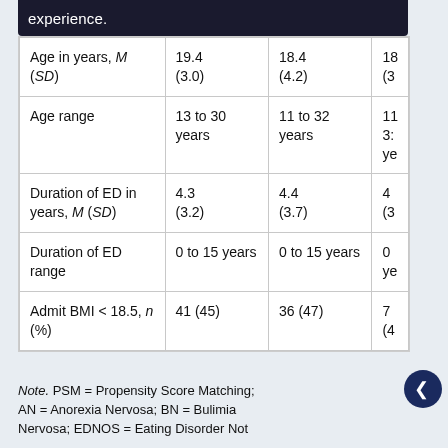|  | Col1 | Col2 | Col3 |
| --- | --- | --- | --- |
| Age in years, M (SD) | 19.4 (3.0) | 18.4 (4.2) | 18 (3 |
| Age range | 13 to 30 years | 11 to 32 years | 11 32 ye |
| Duration of ED in years, M (SD) | 4.3 (3.2) | 4.4 (3.7) | 4 (3 |
| Duration of ED range | 0 to 15 years | 0 to 15 years | 0 ye |
| Admit BMI < 18.5, n (%) | 41 (45) | 36 (47) | 7 (4 |
Note. PSM = Propensity Score Matching; AN = Anorexia Nervosa; BN = Bulimia Nervosa; EDNOS = Eating Disorder Not